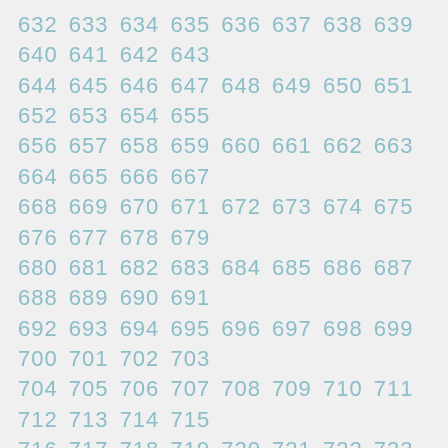632 633 634 635 636 637 638 639 640 641 642 643 644 645 646 647 648 649 650 651 652 653 654 655 656 657 658 659 660 661 662 663 664 665 666 667 668 669 670 671 672 673 674 675 676 677 678 679 680 681 682 683 684 685 686 687 688 689 690 691 692 693 694 695 696 697 698 699 700 701 702 703 704 705 706 707 708 709 710 711 712 713 714 715 716 717 718 719 720 721 722 723 724 725 726 727 728 729 730 731 732 733 734 735 736 737 738 739 740 741 742 743 744 745 746 747 748 749 750 751 752 753 754 755 756 757 758 759 760 761 762 763 764 765 766 767 768 769 770 771 772 773 774 775 776 777 778 779 780 781 782 783 784 785 786 787 788 789 790 791 792 793 794 795 796 797 798 799 800 801 802 803 804 805 806 807 808 809 810 811 812 813 814 815 816 817 818 819 820 821 822 823 824 825 826 827 828 829 830 831 832 833 834 835 836 837 838 839 840 841 842 843 844 845 846 847 848 849 850 851 852 853 854 855 856 857 858 859